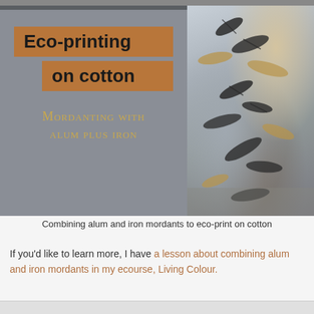[Figure (photo): Two-panel image: Left panel shows a grey-background graphic with text 'Eco-printing on cotton' in bold on tan/brown rectangles, and below in gold small-caps 'Mordanting with alum plus iron'. Right panel shows a photo of eco-printed fabric with leaf impressions in black, tan, and blue-grey tones.]
Combining alum and iron mordants to eco-print on cotton
If you'd like to learn more, I have a lesson about combining alum and iron mordants in my ecourse, Living Colour.